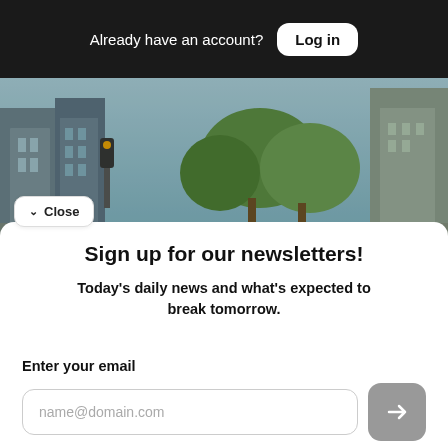Already have an account? Log in
[Figure (photo): Urban street scene with buildings and trees in background]
Close
Sign up for our newsletters!
Today's daily news and what's expected to break tomorrow.
Enter your email
name@domain.com
OR SIGN UP WITH